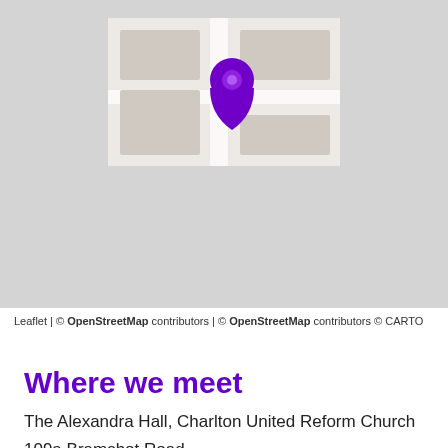[Figure (map): A map showing the location of The Alexandra Hall, Charlton United Reform Church. The map has a light grey background with a white street detail area in the center, and a purple location pin marker pointing to the building.]
Leaflet | © OpenStreetMap contributors | © OpenStreetMap contributors © CARTO
Where we meet
The Alexandra Hall, Charlton United Reform Church
109a Bramshot Road
Charlton
SE7 7HX